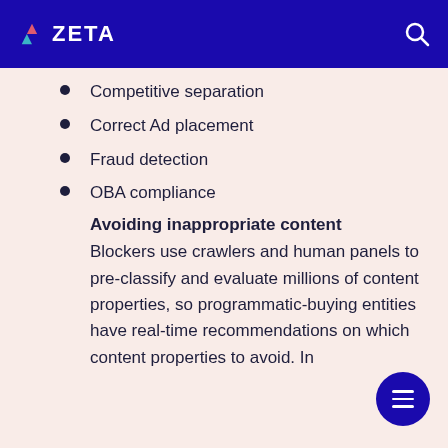ZETA
Competitive separation
Correct Ad placement
Fraud detection
OBA compliance
Avoiding inappropriate content
Blockers use crawlers and human panels to pre-classify and evaluate millions of content properties, so programmatic-buying entities have real-time recommendations on which content properties to avoid. In